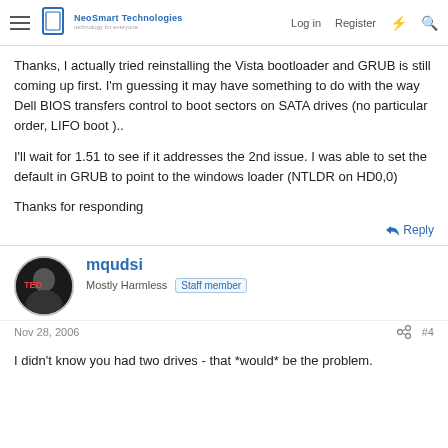NeoSmart Technologies — Log in | Register
Thanks, I actually tried reinstalling the Vista bootloader and GRUB is still coming up first. I'm guessing it may have something to do with the way Dell BIOS transfers control to boot sectors on SATA drives (no particular order, LIFO boot )..
I'll wait for 1.51 to see if it addresses the 2nd issue. I was able to set the default in GRUB to point to the windows loader (NTLDR on HD0,0)
Thanks for responding
↩ Reply
mqudsi
Mostly Harmless  Staff member
Nov 28, 2006  #4
I didn't know you had two drives - that *would* be the problem.